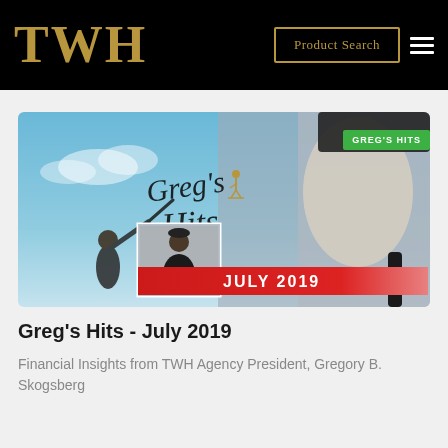TWH — Product Search
[Figure (illustration): Greg's Hits July 2019 banner image showing a golfer swinging a club against a blue sky background on the left, a golf glove gripping a club on the right, a small inset photo of a man in a black shirt swinging a golf club, cursive script reading 'Greg's Hits' in the center, a red banner reading 'JULY 2019', and a green tag in the upper right reading 'GREG'S HITS'.]
Greg's Hits - July 2019
Financial Insights from TWH Agency President, Gregory B. Skogsberg